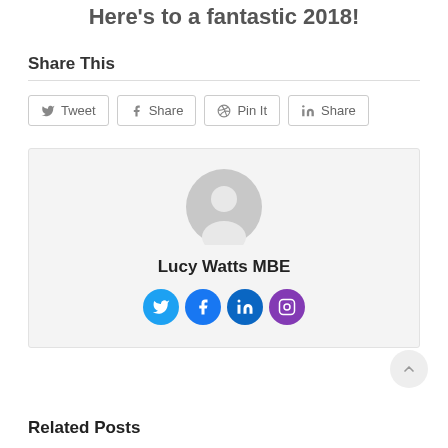Here's to a fantastic 2018!
Share This
[Figure (other): Social share buttons: Tweet, Share (Facebook), Pin It (Pinterest), Share (LinkedIn)]
[Figure (other): Author profile box with avatar placeholder, name 'Lucy Watts MBE', and social media icons for Twitter, Facebook, LinkedIn, Instagram]
Related Posts